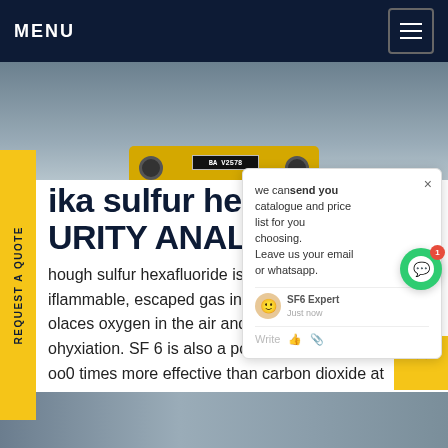MENU
[Figure (photo): Yellow electric vehicle / AGV with license plate BA V2578, viewed from rear, on gray floor]
we can send you catalogue and price list for you choosing. Leave us your email or whatsapp.
ika sulfur hexafluoride PURITY ANALYZER
hough sulfur hexafluoride is non-flammable, escaped gas in enclosed places oxygen in the air and could lead to asphyxiation. SF 6 is also a potent greenhouse gas – 23,500 times more effective than carbon dioxide at trapping infrared radiation in the atmosphere. In addition, TD plant safety depends on the purity of SF Get price
[Figure (photo): Bottom thumbnail image strip]